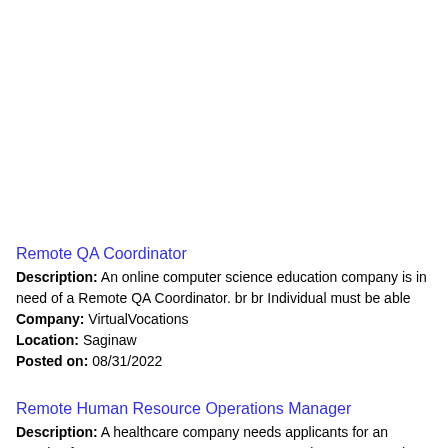Remote QA Coordinator
Description: An online computer science education company is in need of a Remote QA Coordinator. br br Individual must be able
Company: VirtualVocations
Location: Saginaw
Posted on: 08/31/2022
Remote Human Resource Operations Manager
Description: A healthcare company needs applicants for an opening for a Remote Human Resource Operations Manager. br
Company: VirtualVocations
Location: Saginaw